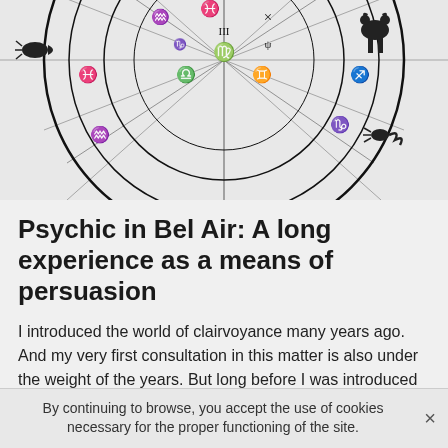[Figure (illustration): Black and white illustration of an astrology/zodiac wheel with symbols for zodiac signs and celestial imagery including what appears to be a sun at the top and various zodiac figures around the circle.]
Psychic in Bel Air: A long experience as a means of persuasion
I introduced the world of clairvoyance many years ago. And my very first consultation in this matter is also under the weight of the years. But long before I was introduced to this profession, my special gift of clairvoyance was awakened within me. Indeed, my very first contact with my gift of clairvoyance probably goes back to when I was younger.
As far as my memory can carry me, I always had the
By continuing to browse, you accept the use of cookies necessary for the proper functioning of the site.